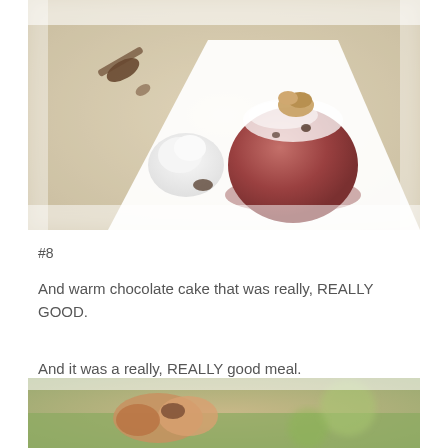[Figure (photo): A round chocolate lava cake dusted with powdered sugar and topped with a nut garnish, served on a white plate with a dollop of whipped cream and a dark sauce swirl. A spoon rests on the wooden table nearby.]
#8
And warm chocolate cake that was really, REALLY GOOD.
And it was a really, REALLY good meal.
[Figure (photo): Partial view of food items on grass or green background, with warm tones.]